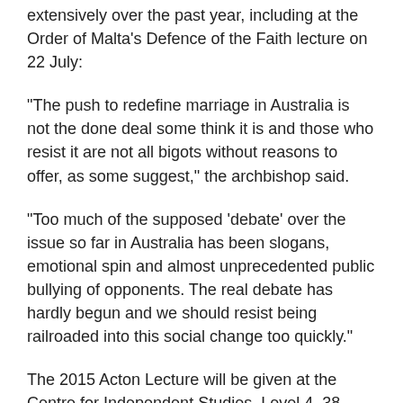extensively over the past year, including at the Order of Malta's Defence of the Faith lecture on 22 July:
“The push to redefine marriage in Australia is not the done deal some think it is and those who resist it are not all bigots without reasons to offer, as some suggest,” the archbishop said.
“Too much of the supposed ‘debate’ over the issue so far in Australia has been slogans, emotional spin and almost unprecedented public bullying of opponents. The real debate has hardly begun and we should resist being railroaded into this social change too quickly.”
The 2015 Acton Lecture will be given at the Centre for Independent Studies, Level 4, 38 Oxley Street, St Leonards.
Click here to register.